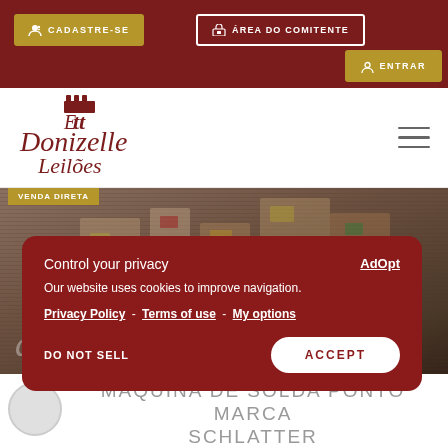CADASTRE-SE | ÁREA DO COMITENTE | ENTRAR
[Figure (logo): Donizelle Leilões logo in dark red italic script]
[Figure (photo): Background photo of warehouse/storage items with VENDA DIRETA tag overlay]
Control your privacy
Our website uses cookies to improve navigation.
Privacy Policy - Terms of use - My options
DO NOT SELL    ACCEPT
MÁQUINA DE SOLDA PONTO MARCA SCHLATTER